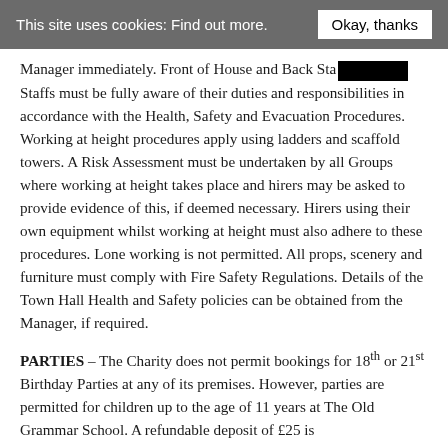This site uses cookies: Find out more.   Okay, thanks
Manager immediately. Front of House and Back Stage Staffs must be fully aware of their duties and responsibilities in accordance with the Health, Safety and Evacuation Procedures. Working at height procedures apply using ladders and scaffold towers. A Risk Assessment must be undertaken by all Groups where working at height takes place and hirers may be asked to provide evidence of this, if deemed necessary. Hirers using their own equipment whilst working at height must also adhere to these procedures. Lone working is not permitted. All props, scenery and furniture must comply with Fire Safety Regulations. Details of the Town Hall Health and Safety policies can be obtained from the Manager, if required.
PARTIES – The Charity does not permit bookings for 18th or 21st Birthday Parties at any of its premises. However, parties are permitted for children up to the age of 11 years at The Old Grammar School. A refundable deposit of £25 is